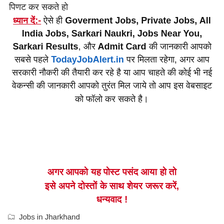पिणट कर सकते हो
ध्यान दें:- ऐसे ही Goverment Jobs, Private Jobs, All India Jobs, Sarkari Naukri, Jobs Near You, Sarkari Results, और Admit Card की जानकारी आपको सबसे पहले TodayJobAlert.in पर मिलता रहेगा, अगर आप सरकारी नौकरी की तैयारी कर रहे है या आप चाहते की कोई भी नई वेकन्सी की जानकारी आपको तुरंत मिल जाये तो आप इस वेबसाइट को फॉलो कर सकते है।
अगर आपको यह पोस्ट पसंद आया हो तो इसे अपने दोस्तों के साथ शेयर जरूर करें, धन्यवाद !
Jobs in Jharkhand